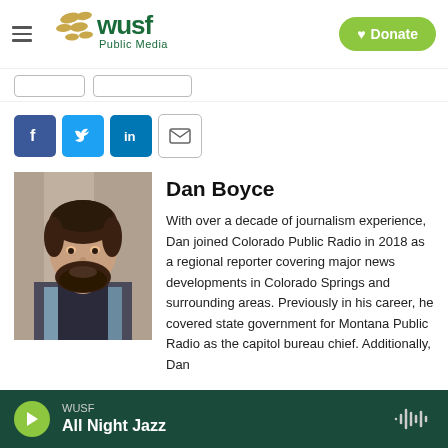WUSF Public Media — Donate
[Figure (screenshot): Social sharing buttons: Facebook, Twitter, LinkedIn, Email]
[Figure (photo): Headshot of Dan Boyce, a man with brown hair and beard, wearing a dark vest over a blue plaid shirt]
Dan Boyce
With over a decade of journalism experience, Dan joined Colorado Public Radio in 2018 as a regional reporter covering major news developments in Colorado Springs and surrounding areas. Previously in his career, he covered state government for Montana Public Radio as the capitol bureau chief. Additionally, Dan
WUSF — All Night Jazz